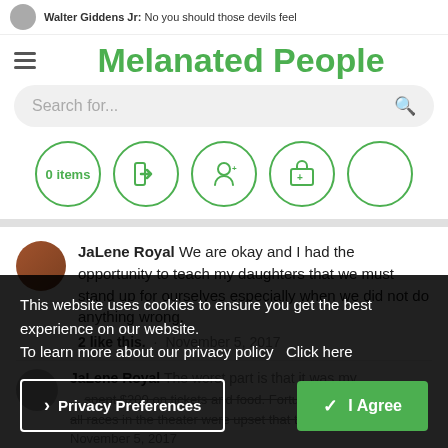Walter Giddens Jr: No you should those devils feel
Melanated People
Search for...
0 items
JaLene Royal  We are okay and I had the opportunity to teach my daughters that we must stand up for ourselves especially when we did not do anything wrong. 2 like this.  ·  November 5, 2017
JaLene Royal  The worst part is that it was my ... spent $200 on tickets and food. Fortunately people of all races in the theater were upset that this happened ... November 5, 2017
There are no more results to show.
This website uses cookies to ensure you get the best experience on our website.
To learn more about our privacy policy  Click here
> Privacy Preferences
✓ I Agree